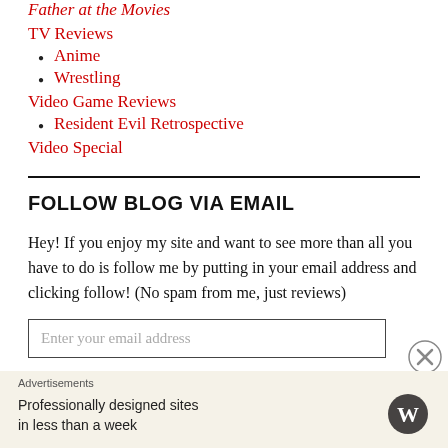Father at the Movies (partial, cut off at top)
TV Reviews
Anime
Wrestling
Video Game Reviews
Resident Evil Retrospective
Video Special
FOLLOW BLOG VIA EMAIL
Hey! If you enjoy my site and want to see more than all you have to do is follow me by putting in your email address and clicking follow! (No spam from me, just reviews)
Enter your email address
Advertisements
Professionally designed sites in less than a week